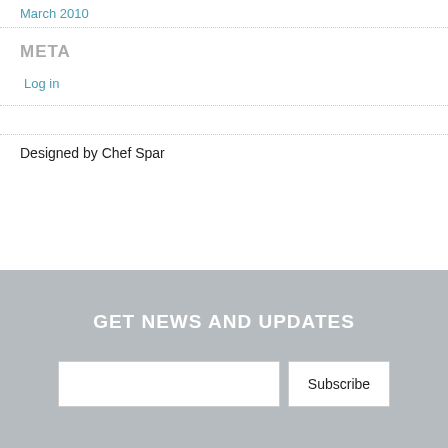March 2010
META
Log in
Designed by Chef Spar
GET NEWS AND UPDATES
Subscribe